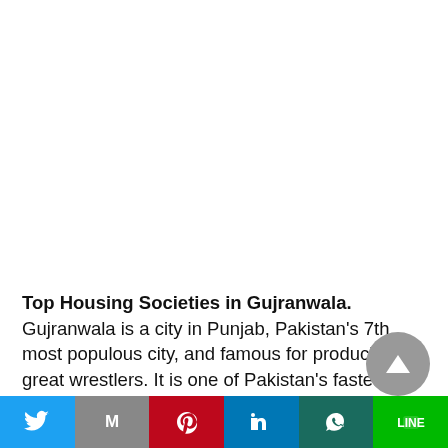Top Housing Societies in Gujranwala. Gujranwala is a city in Punjab, Pakistan's 7th most populous city, and famous for producing great wrestlers. It is one of Pakistan's fastest developing cities, and it has developed into
Share buttons: Twitter, Gmail, Pinterest, LinkedIn, WhatsApp, LINE